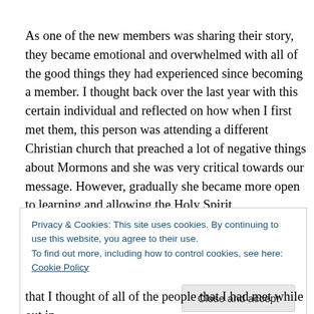As one of the new members was sharing their story, they became emotional and overwhelmed with all of the good things they had experienced since becoming a member. I thought back over the last year with this certain individual and reflected on how when I first met them, this person was attending a different Christian church that preached a lot of negative things about Mormons and she was very critical towards our message. However, gradually she became more open to learning and allowing the Holy Spirit
Privacy & Cookies: This site uses cookies. By continuing to use this website, you agree to their use.
To find out more, including how to control cookies, see here: Cookie Policy
that I thought of all of the people that I had met while out in